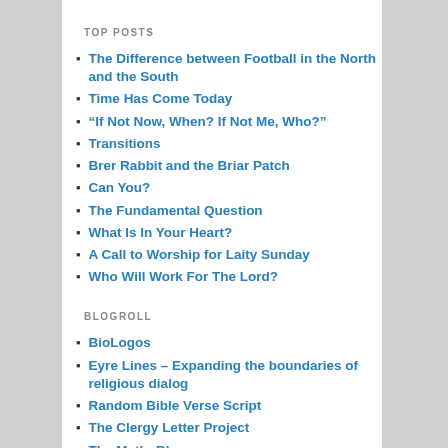TOP POSTS
The Difference between Football in the North and the South
Time Has Come Today
“If Not Now, When? If Not Me, Who?”
Transitions
Brer Rabbit and the Briar Patch
Can You?
The Fundamental Question
What Is In Your Heart?
A Call to Worship for Laity Sunday
Who Will Work For The Lord?
BLOGROLL
BioLogos
Eyre Lines – Expanding the boundaries of religious dialog
Random Bible Verse Script
The Clergy Letter Project
The MethoBlog